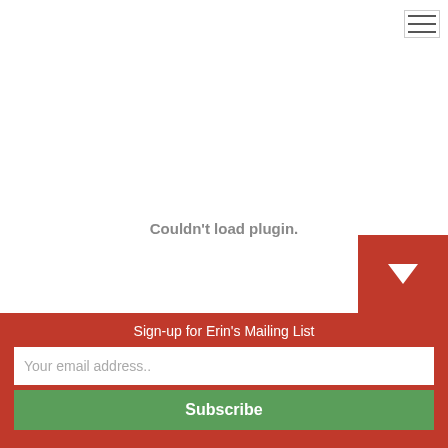[Figure (other): Hamburger menu icon in top right corner, three horizontal lines in a bordered box]
Couldn't load plugin.
[Figure (other): Red square button with white downward-pointing triangle arrow]
Sign-up for Erin's Mailing List
Your email address..
Subscribe